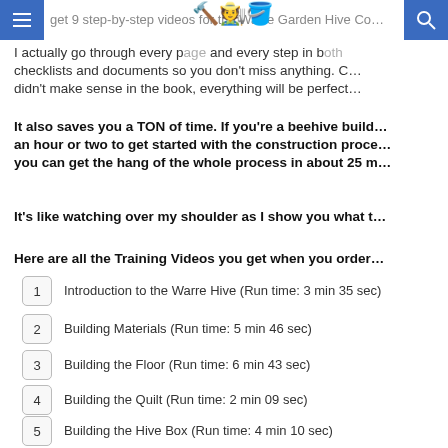get 9 step-by-step videos for the Warre Garden Hive Co…
I actually go through every page and every step in both checklists and documents so you don't miss anything. C… didn't make sense in the book, everything will be perfect…
It also saves you a TON of time. If you're a beehive build… an hour or two to get started with the construction proce… you can get the hang of the whole process in about 25 m…
It's like watching over my shoulder as I show you what t…
Here are all the Training Videos you get when you order…
Introduction to the Warre Hive (Run time: 3 min 35 sec)
Building Materials (Run time: 5 min 46 sec)
Building the Floor (Run time: 6 min 43 sec)
Building the Quilt (Run time: 2 min 09 sec)
Building the Hive Box (Run time: 4 min 10 sec)
Building the Roof (Run time: 3 min 56 sec)